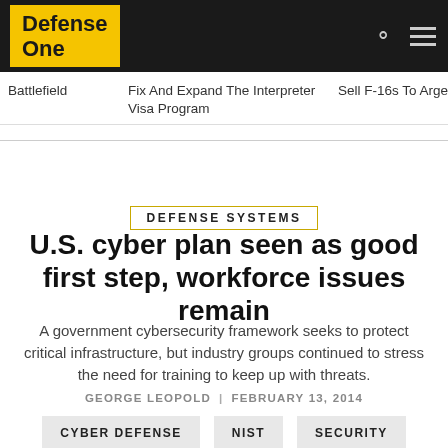Defense One
Battlefield   Fix And Expand The Interpreter Visa Program   Sell F-16s To Arge
DEFENSE SYSTEMS
U.S. cyber plan seen as good first step, workforce issues remain
A government cybersecurity framework seeks to protect critical infrastructure, but industry groups continued to stress the need for training to keep up with threats.
GEORGE LEOPOLD | FEBRUARY 13, 2014
CYBER DEFENSE
NIST
SECURITY